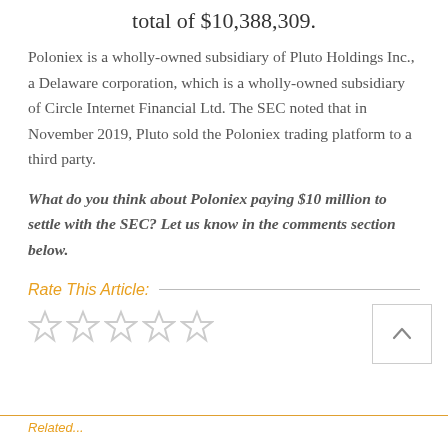total of $10,388,309.
Poloniex is a wholly-owned subsidiary of Pluto Holdings Inc., a Delaware corporation, which is a wholly-owned subsidiary of Circle Internet Financial Ltd. The SEC noted that in November 2019, Pluto sold the Poloniex trading platform to a third party.
What do you think about Poloniex paying $10 million to settle with the SEC? Let us know in the comments section below.
Rate This Article:
[Figure (other): Five empty star rating icons in a row]
[Figure (other): Back to top button with upward caret arrow]
Related...